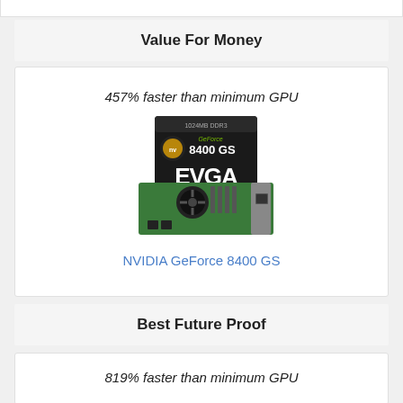Value For Money
457% faster than minimum GPU
[Figure (photo): EVGA GeForce 8400 GS graphics card product photo showing the box and the actual GPU card with green PCB]
NVIDIA GeForce 8400 GS
Best Future Proof
819% faster than minimum GPU